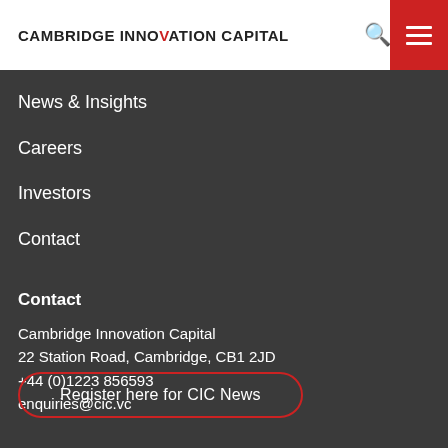CAMBRIDGE INNOVATION CAPITAL
News & Insights
Careers
Investors
Contact
Contact
Cambridge Innovation Capital
22 Station Road, Cambridge, CB1 2JD
+44 (0)1223 856593
enquiries@cic.vc
Register here for CIC News